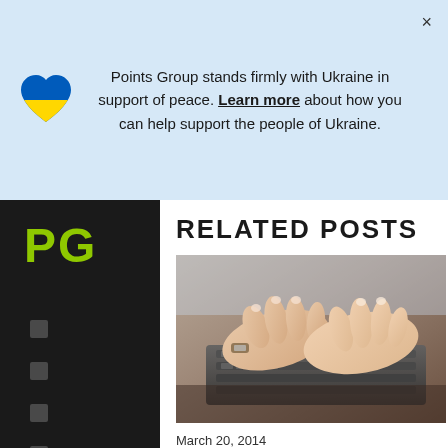Points Group stands firmly with Ukraine in support of peace. Learn more about how you can help support the people of Ukraine.
[Figure (illustration): Ukrainian flag heart icon (blue and yellow heart)]
[Figure (logo): Points Group logo - PG letters in green on dark background]
RELATED POSTS
[Figure (photo): Close-up photo of hands typing on a computer keyboard]
March 20, 2014
Points Group Ranked As Top 30 Digital Marketing Agencies In NJ